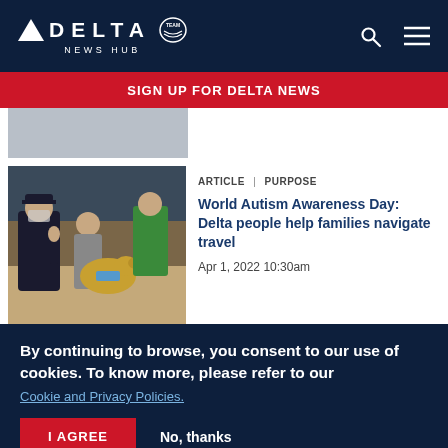DELTA NEWS HUB
SIGN UP FOR DELTA NEWS
[Figure (photo): Partial view of an article thumbnail image (gray/sky toned)]
ARTICLE  |  PURPOSE
[Figure (photo): Photo of a Delta pilot in uniform and mask kneeling next to a child and a golden retriever therapy dog in an airport terminal]
World Autism Awareness Day: Delta people help families navigate travel
Apr 1, 2022 10:30am
By continuing to browse, you consent to our use of cookies. To know more, please refer to our Cookie and Privacy Policies.
I AGREE   No, thanks